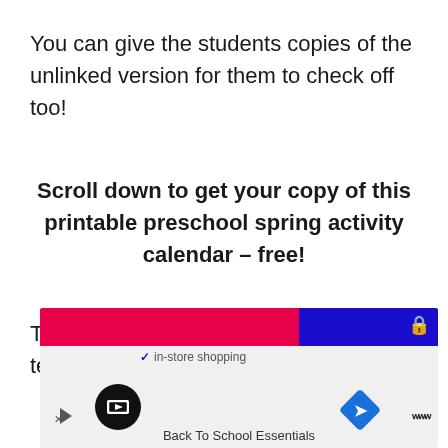You can give the students copies of the unlinked version for them to check off too!
Scroll down to get your copy of this printable preschool spring activity calendar – free!
Take a look at these other spring teaching ideas for early grades!
[Figure (screenshot): Advertisement banner showing Back To School Essentials with a pink and blue top bar, navigation icons, and in-store shopping checkmark]